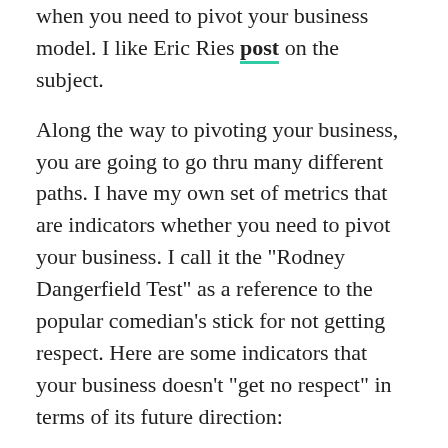when you need to pivot your business model.  I like Eric Ries post on the subject.
Along the way to pivoting your business, you are going to go thru many different paths.  I have my own set of metrics that are indicators whether you need to pivot your business.  I call it the "Rodney Dangerfield Test" as a reference to the popular comedian's stick for not getting respect.  Here are some indicators that your business doesn't "get no respect" in terms of its future direction:
You have to change your consumers mindset (or workflow) – anytime you have a product where your customers have to do something completely different in order to be successful is going to be either too expensive to launch/grow or will never be successful.
No one wants to talk to you about it – this is the epitome of the Dangerfield principle, no one gives you respect.  Especially customers